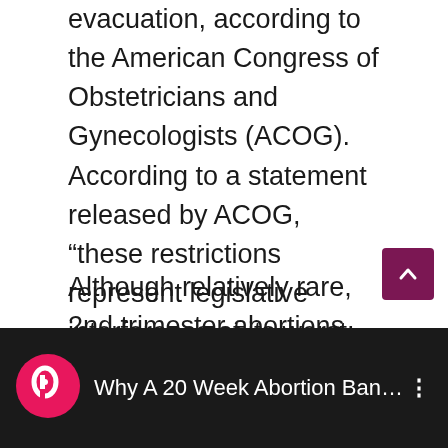evacuation, according to the American Congress of Obstetricians and Gynecologists (ACOG). According to a statement released by ACOG, “these restrictions represent legislative interference at its worst: doctors will be forced, by ill-advised, unscientifically motivated policy, to provide lesser care to patients.”
Although relatively rare, 2nd trimester abortions done in a safe and timely manner are necessary. Here’s one woman’s story. As Julie says in this video, “This has nothing to do with politics. This has to do with the choices my husband and I needed to make.”
[Figure (screenshot): YouTube-style video bar with Planned Parenthood logo (pink circle with stylized 'p' on dark background), title text 'Why A 20 Week Abortion Ban Is ...' and a three-dot menu icon, on a dark/black background]